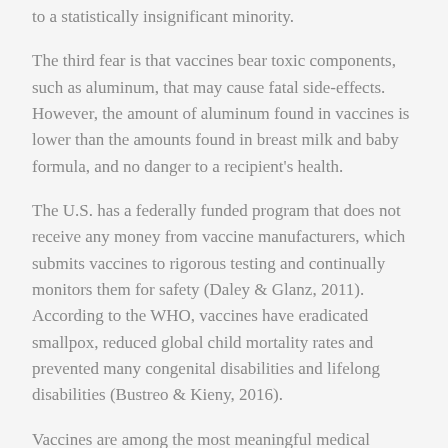to a statistically insignificant minority.
The third fear is that vaccines bear toxic components, such as aluminum, that may cause fatal side-effects. However, the amount of aluminum found in vaccines is lower than the amounts found in breast milk and baby formula, and no danger to a recipient's health.
The U.S. has a federally funded program that does not receive any money from vaccine manufacturers, which submits vaccines to rigorous testing and continually monitors them for safety (Daley & Glanz, 2011). According to the WHO, vaccines have eradicated smallpox, reduced global child mortality rates and prevented many congenital disabilities and lifelong disabilities (Bustreo & Kieny, 2016).
Vaccines are among the most meaningful medical developments of our age, and no hard science supports claims that they are harmful.